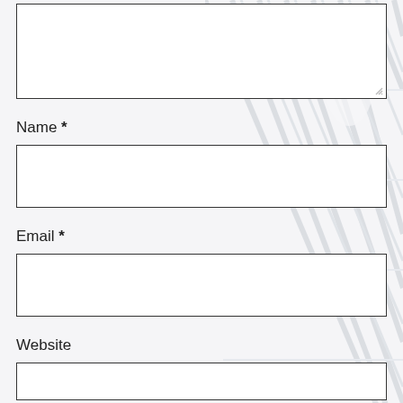[Figure (other): Background watermark image of what appears to be mechanical/structural diagonal lines or railings, shown in light gray on the right side of the page]
[textarea - top of page, partially visible]
Name *
[Name input field]
Email *
[Email input field]
Website
[Website input field - partially visible]